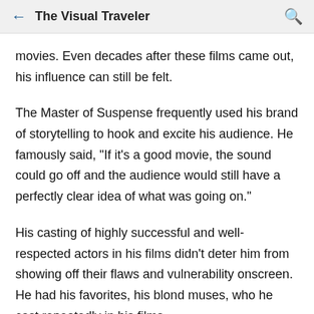The Visual Traveler
movies. Even decades after these films came out, his influence can still be felt.
The Master of Suspense frequently used his brand of storytelling to hook and excite his audience. He famously said, "If it's a good movie, the sound could go off and the audience would still have a perfectly clear idea of what was going on."
His casting of highly successful and well-respected actors in his films didn't deter him from showing off their flaws and vulnerability onscreen. He had his favorites, his blond muses, who he cast repeatedly in his films.